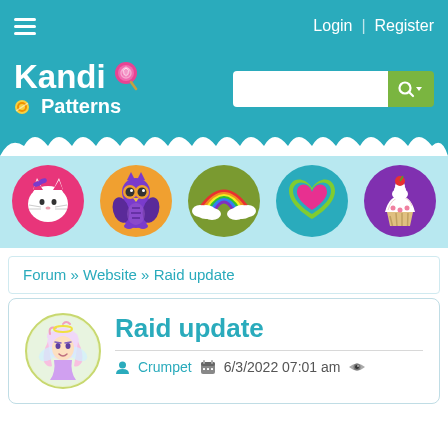Login | Register
[Figure (logo): Kandi Patterns logo with lollipop and candy icons, white text on teal background]
[Figure (illustration): Five colorful circular icons: Hello Kitty (pink), Owl (orange), Rainbow (olive green), Heart (teal), Cupcake (purple)]
Forum » Website » Raid update
Raid update
Crumpet  6/3/2022 07:01 am